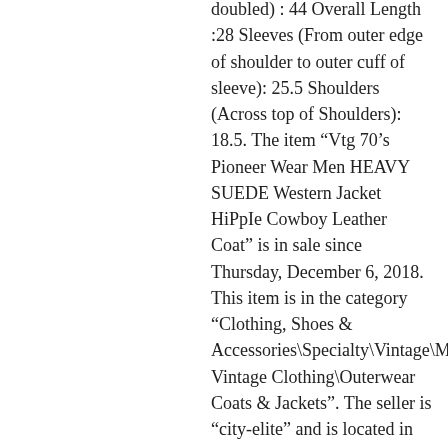doubled) : 44 Overall Length :28 Sleeves (From outer edge of shoulder to outer cuff of sleeve): 25.5 Shoulders (Across top of Shoulders): 18.5. The item “Vtg 70’s Pioneer Wear Men HEAVY SUEDE Western Jacket HiPpIe Cowboy Leather Coat” is in sale since Thursday, December 6, 2018. This item is in the category “Clothing, Shoes & Accessories\Specialty\Vintage\Men’s Vintage Clothing\Outerwear Coats & Jackets”. The seller is “city-elite” and is located in Huffman, Texas. This item can be shipped worldwide.